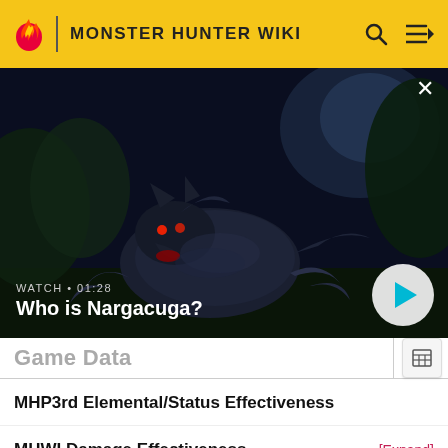MONSTER HUNTER WIKI
[Figure (screenshot): Monster Hunter game screenshot showing Nargacuga creature in a dark environment, displayed as a video thumbnail with a play button. Text overlay shows 'WATCH • 01:28' and 'Who is Nargacuga?']
Game Data
MHP3rd Elemental/Status Effectiveness
MHWI Damage Effectiveness
MHRise Damage/Elemental Effectiveness